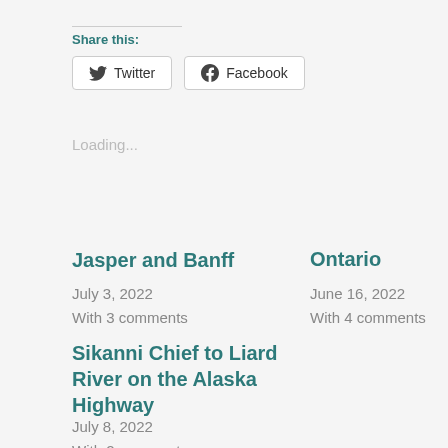Share this:
Twitter  Facebook
Loading...
Jasper and Banff
July 3, 2022
With 3 comments
Ontario
June 16, 2022
With 4 comments
Sikanni Chief to Liard River on the Alaska Highway
July 8, 2022
With 2 comments